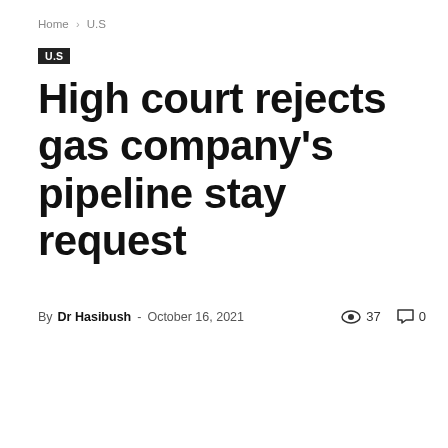Home › U.S
U.S
High court rejects gas company's pipeline stay request
By Dr Hasibush - October 16, 2021  👁 37  💬 0